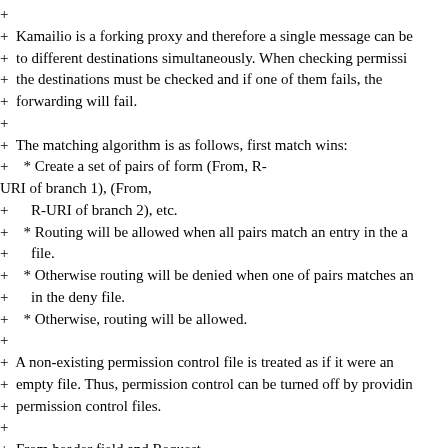+
+  Kamailio is a forking proxy and therefore a single message can be
+  to different destinations simultaneously. When checking permissi
+  the destinations must be checked and if one of them fails, the
+  forwarding will fail.
+
+  The matching algorithm is as follows, first match wins:
+    * Create a set of pairs of form (From, R-
URI of branch 1), (From,
+      R-URI of branch 2), etc.
+    * Routing will be allowed when all pairs match an entry in the a
+      file.
+    * Otherwise routing will be denied when one of pairs matches an
+      in the deny file.
+    * Otherwise, routing will be allowed.
+
+  A non-existing permission control file is treated as if it were an
+  empty file. Thus, permission control can be turned off by providin
+  permission control files.
+
+  From header field and Request-
URIs are always compared with regular
+  expressions! For the syntax see the sample file:
+  config/permissions.allow.
+
+1.2. Registration Permissions